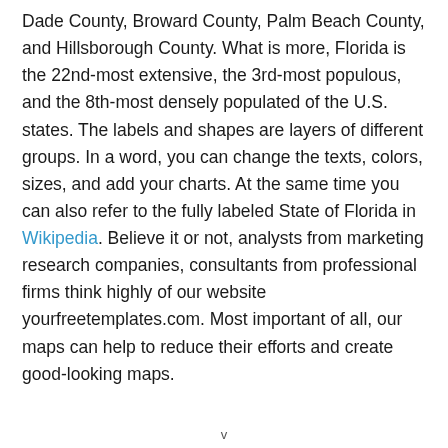Dade County, Broward County, Palm Beach County, and Hillsborough County. What is more, Florida is the 22nd-most extensive, the 3rd-most populous, and the 8th-most densely populated of the U.S. states. The labels and shapes are layers of different groups. In a word, you can change the texts, colors, sizes, and add your charts. At the same time you can also refer to the fully labeled State of Florida in Wikipedia. Believe it or not, analysts from marketing research companies, consultants from professional firms think highly of our website yourfreetemplates.com. Most important of all, our maps can help to reduce their efforts and create good-looking maps.
v